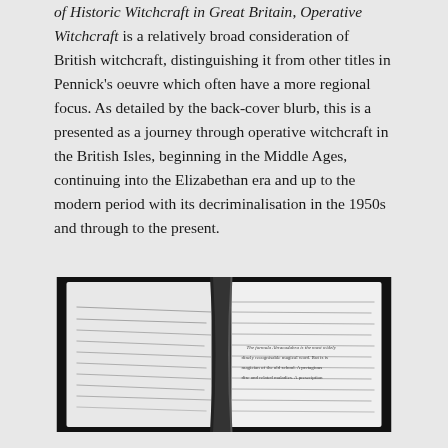of Historic Witchcraft in Great Britain, Operative Witchcraft is a relatively broad consideration of British witchcraft, distinguishing it from other titles in Pennick's oeuvre which often have a more regional focus. As detailed by the back-cover blurb, this is a presented as a journey through operative witchcraft in the British Isles, beginning in the Middle Ages, continuing into the Elizabethan era and up to the modern period with its decriminalisation in the 1950s and through to the present.
[Figure (photo): Black and white photograph of an open book showing two pages of text, taken from above at an angle. The pages show dense text including words like 'Abracadabra' and references to magical formulas and practitioners.]
Despite the clarity of this brief, Operative